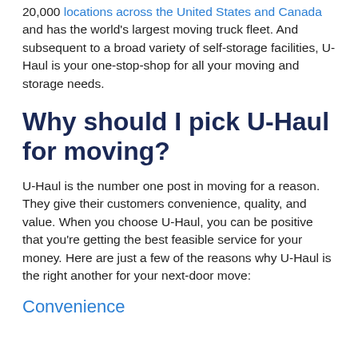20,000 locations across the United States and Canada and has the world's largest moving truck fleet. And subsequent to a broad variety of self-storage facilities, U-Haul is your one-stop-shop for all your moving and storage needs.
Why should I pick U-Haul for moving?
U-Haul is the number one post in moving for a reason. They give their customers convenience, quality, and value. When you choose U-Haul, you can be positive that you're getting the best feasible service for your money. Here are just a few of the reasons why U-Haul is the right another for your next-door move:
Convenience